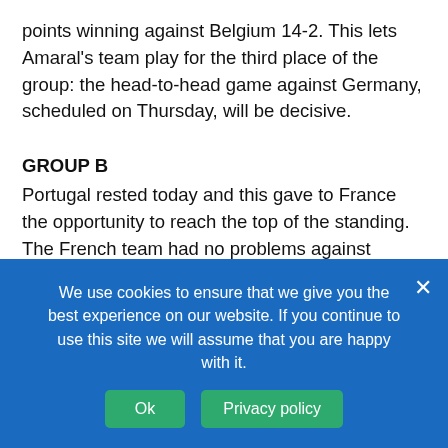points winning against Belgium 14-2. This lets Amaral's team play for the third place of the group: the head-to-head game against Germany, scheduled on Thursday, will be decisive.
GROUP B
Portugal rested today and this gave to France the opportunity to reach the top of the standing. The French team had no problems against Austria and the final result was 14-3. The most balanced game of the day (and, until now, of the whole championship) was the one between Andorra and Switzerland. The guys from the Pyrenean Principality recovered twice and prevailed 3-2 and the end of an amazing
We use cookies to ensure that we give you the best experience on our website. If you continue to use this site we will assume that you are happy with it.